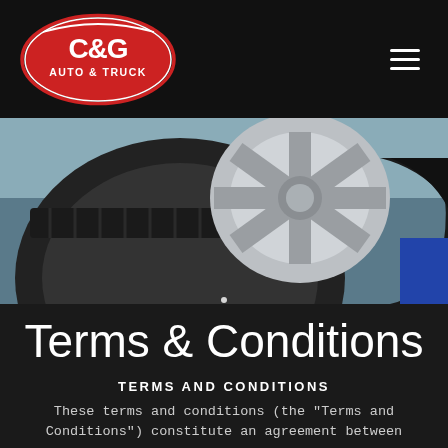[Figure (logo): C&G Auto & Truck oval logo with red background and white text]
[Figure (photo): A mechanic in black gloves handling a car tire and alloy wheel in an auto shop]
Terms & Conditions
TERMS AND CONDITIONS
These terms and conditions (the "Terms and Conditions") constitute an agreement between